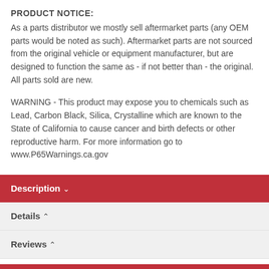PRODUCT NOTICE:
As a parts distributor we mostly sell aftermarket parts (any OEM parts would be noted as such). Aftermarket parts are not sourced from the original vehicle or equipment manufacturer, but are designed to function the same as - if not better than - the original. All parts sold are new.
WARNING - This product may expose you to chemicals such as Lead, Carbon Black, Silica, Crystalline which are known to the State of California to cause cancer and birth defects or other reproductive harm. For more information go to www.P65Warnings.ca.gov
Description ▾
Details ▴
Reviews ▴